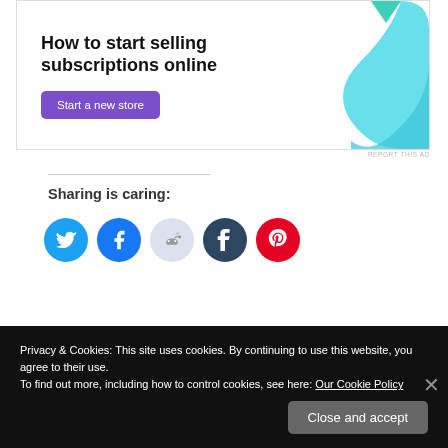[Figure (other): Advertisement banner: 'How to start selling subscriptions online' with a purple 'Start a new store' button and teal/blue decorative graphic on right]
REPORT THIS AD
Sharing is caring:
[Figure (other): Social sharing icons row: Twitter (blue), Facebook (blue), Reddit (light gray), Tumblr (dark), Pinterest (red)]
Loading...
Privacy & Cookies: This site uses cookies. By continuing to use this website, you agree to their use.
To find out more, including how to control cookies, see here: Our Cookie Policy
Close and accept